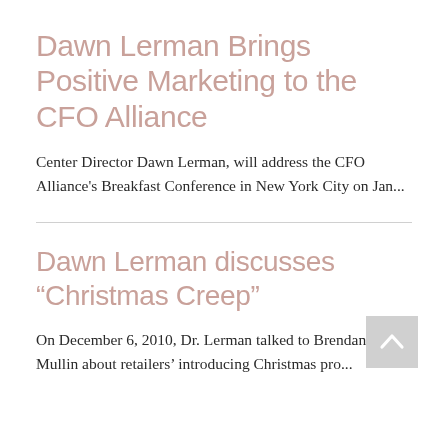Dawn Lerman Brings Positive Marketing to the CFO Alliance
Center Director Dawn Lerman, will address the CFO Alliance's Breakfast Conference in New York City on Jan...
Dawn Lerman discusses “Christmas Creep”
On December 6, 2010, Dr. Lerman talked to Brendan Mullin about retailers’ introducing Christmas pro...